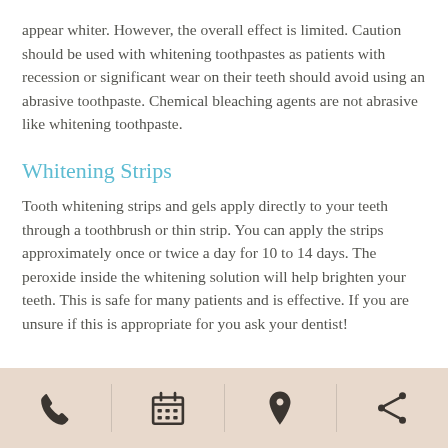appear whiter. However, the overall effect is limited. Caution should be used with whitening toothpastes as patients with recession or significant wear on their teeth should avoid using an abrasive toothpaste. Chemical bleaching agents are not abrasive like whitening toothpaste.
Whitening Strips
Tooth whitening strips and gels apply directly to your teeth through a toothbrush or thin strip. You can apply the strips approximately once or twice a day for 10 to 14 days. The peroxide inside the whitening solution will help brighten your teeth. This is safe for many patients and is effective. If you are unsure if this is appropriate for you ask your dentist!
[Figure (infographic): Bottom navigation bar with four icons: phone, calendar, map pin/location, and share icon on a beige/tan background.]